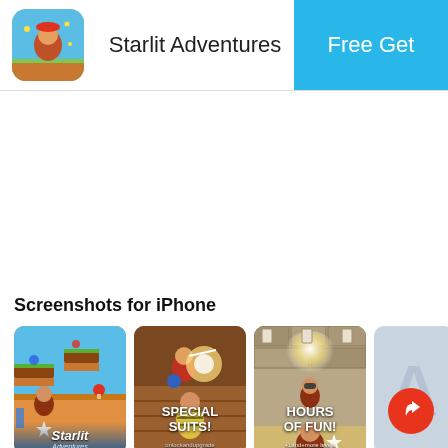Starlit Adventures — Free Get
[Figure (screenshot): App Store listing page for Starlit Adventures showing app icon, title, Free Get button, and iPhone screenshots carousel]
Screenshots for iPhone
[Figure (screenshot): Screenshot 1: Starlit Adventures gameplay with platform levels, brown character, and Starlit logo]
[Figure (screenshot): Screenshot 2: SPECIAL SUITS! text with character in a special suit]
[Figure (screenshot): Screenshot 3: HOURS OF FUN! text with gameplay scene]
[Figure (screenshot): Screenshot 4: Placeholder with watermark A+ symbol]
[Figure (screenshot): Screenshot 5: Partial yellow screenshot with BE... ST... text]